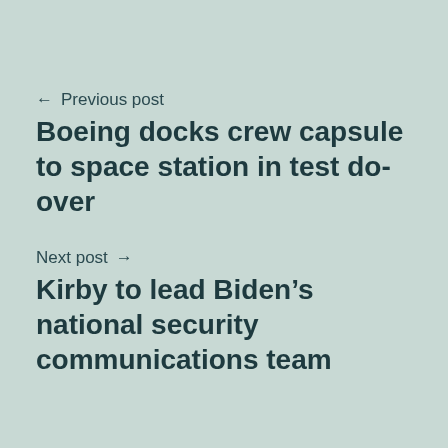← Previous post
Boeing docks crew capsule to space station in test do-over
Next post →
Kirby to lead Biden's national security communications team